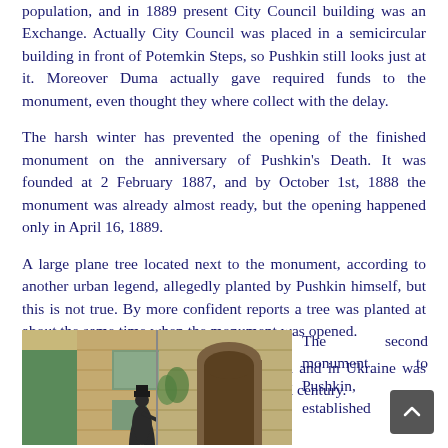population, and in 1889 present City Council building was an Exchange. Actually City Council was placed in a semicircular building in front of Potemkin Steps, so Pushkin still looks just at it. Moreover Duma actually gave required funds to the monument, even thought they where collect with the delay.
The harsh winter has prevented the opening of the finished monument on the anniversary of Pushkin's Death. It was founded at 2 February 1887, and by October 1st, 1888 the monument was already almost ready, but the opening happened only in April 16, 1889.
A large plane tree located next to the monument, according to another urban legend, allegedly planted by Pushkin himself, but this is not true. By more confident reports a tree was planted at about the same time when the monument was opened.
The first monument to Pushkin in Odessa and in Ukraine was opened on Primorsky Boulevard in the XIX century.
[Figure (photo): Photo of a monument/statue in front of a building with an arched entrance, outdoor scene]
The second monument to Pushkin, established